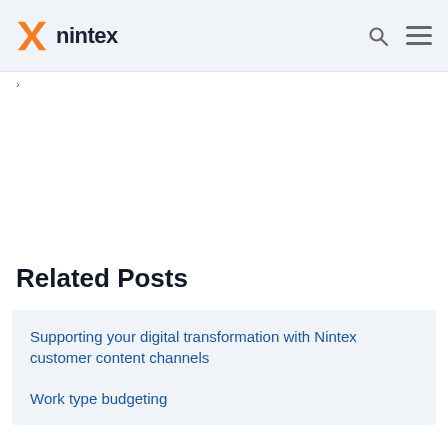nintex
Related Posts
Supporting your digital transformation with Nintex customer content channels
Work type budgeting